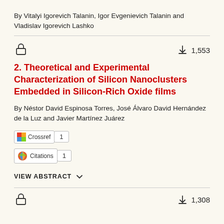By Vitalyi Igorevich Talanin, Igor Evgenievich Talanin and Vladislav Igorevich Lashko
2. Theoretical and Experimental Characterization of Silicon Nanoclusters Embedded in Silicon-Rich Oxide films
By Néstor David Espinosa Torres, José Álvaro David Hernández de la Luz and Javier Martínez Juárez
Crossref 1
Citations 1
VIEW ABSTRACT
1,308